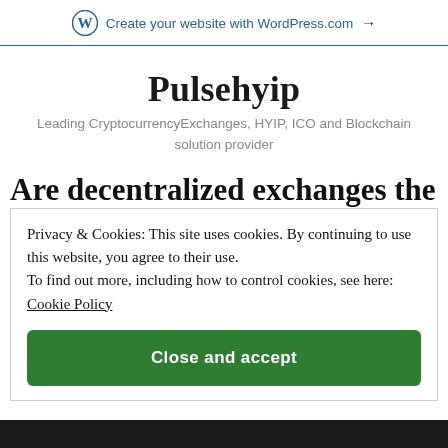Create your website with WordPress.com →
Pulsehyip
Leading CryptocurrencyExchanges, HYIP, ICO and Blockchain solution provider
Are decentralized exchanges the
Privacy & Cookies: This site uses cookies. By continuing to use this website, you agree to their use. To find out more, including how to control cookies, see here: Cookie Policy
Close and accept